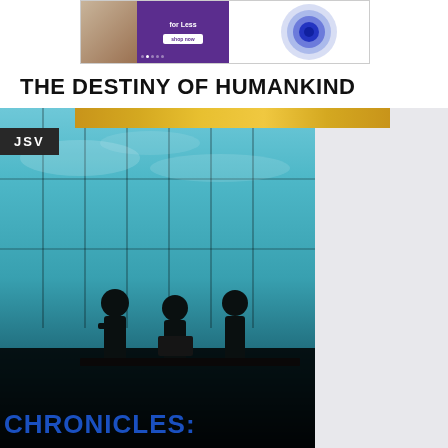[Figure (screenshot): Top banner showing a purple promotional panel with 'for Less' text and shop button alongside concentric blue/purple circles on white background]
THE DESTINY OF HUMANKIND
[Figure (photo): Large photo of silhouetted business people sitting at a meeting table against a floor-to-ceiling glass window with teal sky, overlaid with 'JSV' label in dark box and partial text 'CHRONICLES:' at bottom, with gray panel on right side and gold strip at top]